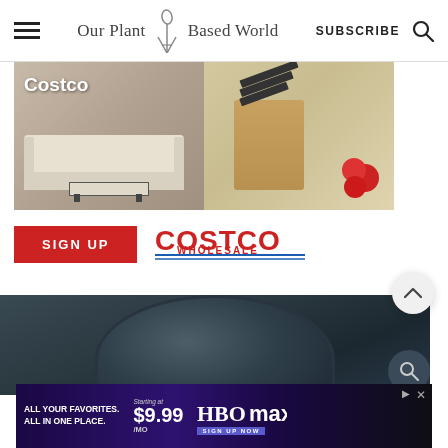Our Plant Based World — SUBSCRIBE
[Figure (photo): Two Costco product images side by side: left shows outdoor patio furniture (sectional sofa) with 'Costco' label overlay, right shows a knife block set with tomatoes on a cutting board]
[Figure (logo): SIGN UP red button and COSTCO WHOLESALE logo in red]
[Figure (photo): Dark slate background with a cast iron pan partially visible from below]
[Figure (infographic): HBO Max advertisement banner: 'ALL YOUR FAVORITES. ALL IN ONE PLACE.' Starting at $9.99/MO. HBO MAX SIGN UP NOW.]